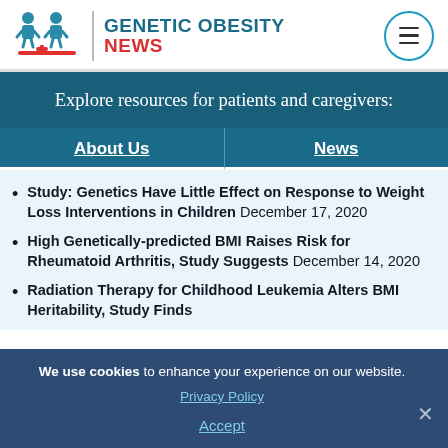GENETIC OBESITY NEWS
Explore resources for patients and caregivers:
About Us | News
Study: Genetics Have Little Effect on Response to Weight Loss Interventions in Children December 17, 2020
High Genetically-predicted BMI Raises Risk for Rheumatoid Arthritis, Study Suggests December 14, 2020
Radiation Therapy for Childhood Leukemia Alters BMI Heritability, Study Finds
We use cookies to enhance your experience on our website. Privacy Policy Accept